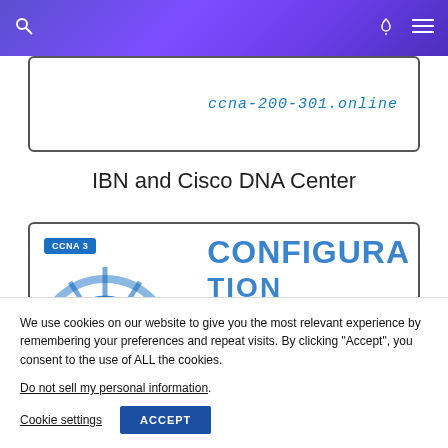Navigation bar with search, dark mode, and menu icons
[Figure (screenshot): Website card showing ccna-200-301.online text in blue handwritten style]
IBN and Cisco DNA Center
[Figure (screenshot): CCNA 3 badge with network icon and CONFIGURA text partially visible]
We use cookies on our website to give you the most relevant experience by remembering your preferences and repeat visits. By clicking "Accept", you consent to the use of ALL the cookies.
Do not sell my personal information.
Cookie settings   ACCEPT